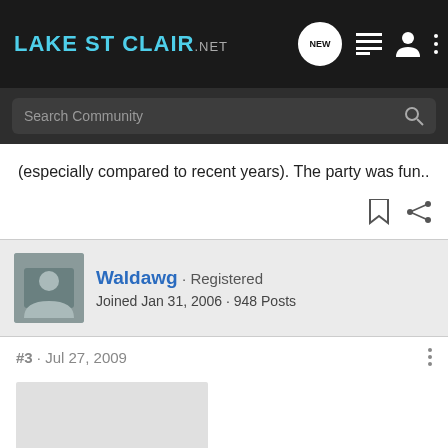LakeSt Clair.NET
(especially compared to recent years). The party was fun..
Waldawg · Registered
Joined Jan 31, 2006 · 948 Posts
#3 · Jul 27, 2009
[Figure (photo): Partially visible image placeholder at bottom of page]